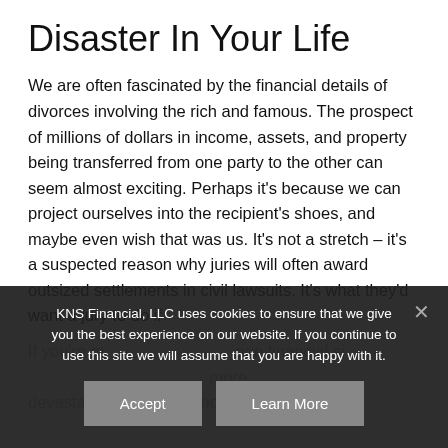Disaster In Your Life
We are often fascinated by the financial details of divorces involving the rich and famous. The prospect of millions of dollars in income, assets, and property being transferred from one party to the other can seem almost exciting. Perhaps it's because we can project ourselves into the recipient's shoes, and maybe even wish that was us. It's not a stretch – it's a suspected reason why juries will often award outsized settlements in civil lawsuits. It's what they'd want a jury to do if
If you're m... financial si... more devastating. A couple who are cli...
KNS Financial, LLC uses cookies to ensure that we give you the best experience on our website. If you continue to use this site we will assume that you are happy with it.